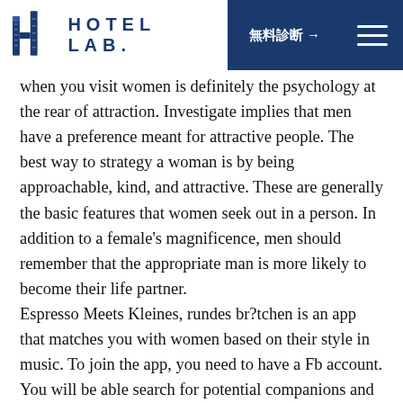HOTEL LAB. 無料診断 →
when you visit women is definitely the psychology at the rear of attraction. Investigate implies that men have a preference meant for attractive people. The best way to strategy a woman is by being approachable, kind, and attractive. These are generally the basic features that women seek out in a person. In addition to a female's magnificence, men should remember that the appropriate man is more likely to become their life partner. Espresso Meets Kleines, rundes br?tchen is an app that matches you with women based on their style in music. To join the app, you need to have a Fb account. You will be able search for potential companions and textual content them for free. These apps are very popular for men looking for females in big cities. There is a 60% woman to forty percent male percentage. You should let them have a try if you need to find the right woman. They might surprise you with how